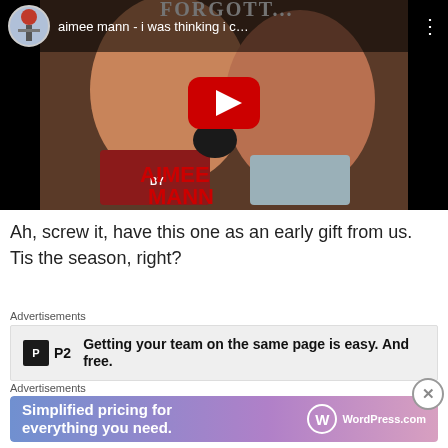[Figure (screenshot): YouTube video thumbnail showing Aimee Mann - 'i was thinking i c...' with two boxers, YouTube play button overlaid, channel avatar top left, three-dot menu top right]
Ah, screw it, have this one as an early gift from us. Tis the season, right?
Advertisements
[Figure (infographic): P2 advertisement: Getting your team on the same page is easy. And free.]
Advertisements
[Figure (infographic): WordPress.com advertisement: Simplified pricing for everything you need.]